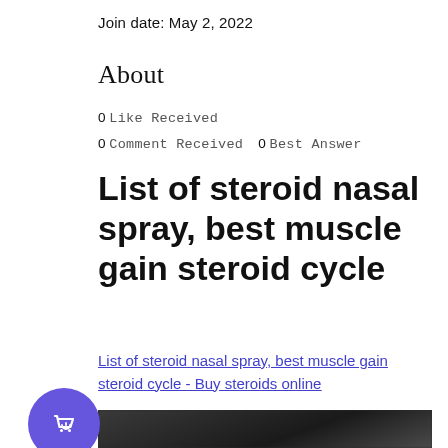Join date: May 2, 2022
About
0 Like Received
0 Comment Received   0 Best Answer
List of steroid nasal spray, best muscle gain steroid cycle
List of steroid nasal spray, best muscle gain steroid cycle - Buy steroids online
[Figure (photo): Blurred dark photo, partially visible at bottom of page]